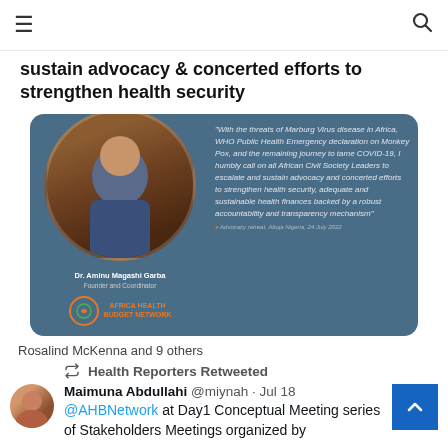≡  [search icon]
sustain advocacy & concerted efforts to strengthen health security
[Figure (photo): Embedded tweet image showing Dr. Aminu Magashi Garba, Founder and Coordinator of Africa Health Budget Network, with a quote about Marburg Virus, Monkey Pox, COVID-19, and African Civil Society advocacy for health security. Advocacy retreat, Abuja Nigeria, 24 July 2022.]
Rosalind McKenna and 9 others
1 comment, 31 likes
Health Reporters Retweeted
Maimuna Abdullahi @miynah · Jul 18
@AHBNetwork at Day1 Conceptual Meeting series of Stakeholders Meetings organized by